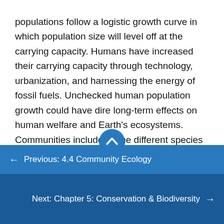populations follow a logistic growth curve in which population size will level off at the carrying capacity. Humans have increased their carrying capacity through technology, urbanization, and harnessing the energy of fossil fuels. Unchecked human population growth could have dire long-term effects on human welfare and Earth's ecosystems. Communities include all the different species living in a given area. The variety of these species is referred to as biodiversity. Species may form symbiotic relationships such as commensalism, mutualism, or parasitism. Community structure is described by its foundation and keystone species. Communities respond to environmental disturbances by succession; the predictable appearance of different types
← Previous: 4.4 Community Ecology
Next: Chapter 5: Conservation & Biodiversity →